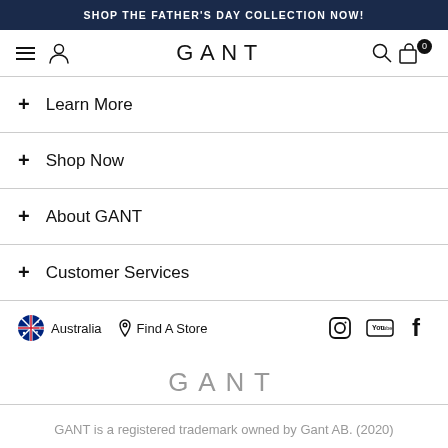SHOP THE FATHER'S DAY COLLECTION NOW!
[Figure (screenshot): GANT website navigation bar with hamburger menu, user icon, GANT logo, search icon, and bag icon with 0 badge]
+ Learn More
+ Shop Now
+ About GANT
+ Customer Services
[Figure (infographic): Footer bar with Australian flag, Australia text, Find A Store link, and Instagram, YouTube, Facebook social icons]
[Figure (logo): GANT logo in grey]
GANT is a registered trademark owned by Gant AB. (2020)